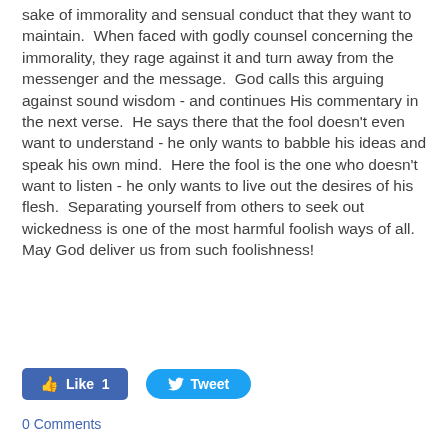sake of immorality and sensual conduct that they want to maintain.  When faced with godly counsel concerning the immorality, they rage against it and turn away from the messenger and the message.  God calls this arguing against sound wisdom - and continues His commentary in the next verse.  He says there that the fool doesn't even want to understand - he only wants to babble his ideas and speak his own mind.  Here the fool is the one who doesn't want to listen - he only wants to live out the desires of his flesh.  Separating yourself from others to seek out wickedness is one of the most harmful foolish ways of all.  May God deliver us from such foolishness!
[Figure (infographic): Social media buttons: Facebook Like button showing '1' like, and Twitter Tweet button]
0 Comments